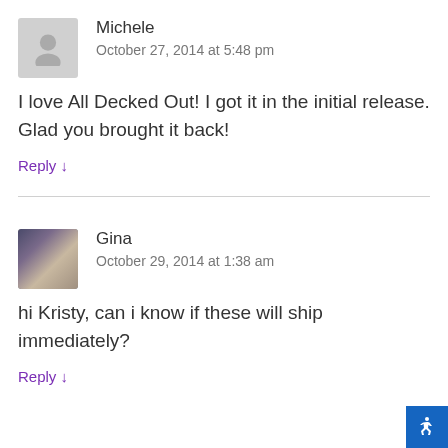[Figure (illustration): Generic user avatar placeholder - grey silhouette of a person on light grey background]
Michele
October 27, 2014 at 5:48 pm
I love All Decked Out! I got it in the initial release. Glad you brought it back!
Reply ↓
[Figure (photo): Small thumbnail photo showing painted fingernails with dark blue glittery nail polish]
Gina
October 29, 2014 at 1:38 am
hi Kristy, can i know if these will ship immediately?
Reply ↓
[Figure (illustration): Blue accessibility icon button in bottom right corner]